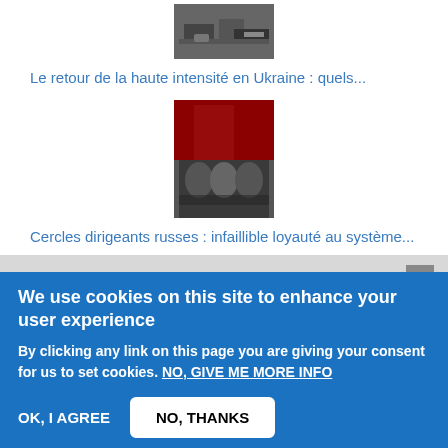[Figure (photo): Photo of destroyed/damaged military equipment or rubble]
Le retour de la haute intensité en Ukraine : quels...
[Figure (photo): Photo of three men in suits seated at a table with red curtains behind them]
Cercles dirigeants russes : infaillible loyauté au système...
AGENDA
from 09:00 to 17:00
Asia after the War in Ukraine: Re-imagining multilateralism and the risk of
We use cookies on this site to enhance your user experience
By clicking any link on this page you are giving your consent for us to set cookies. NO, GIVE ME MORE INFO
OK, I AGREE
NO, THANKS